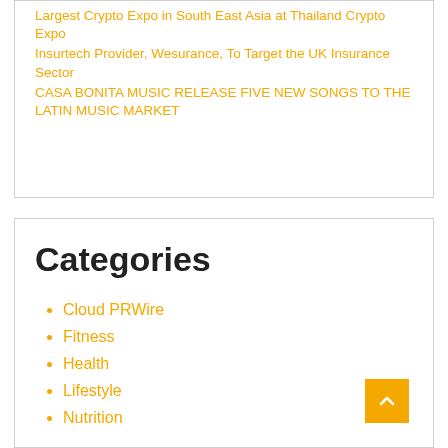Largest Crypto Expo in South East Asia at Thailand Crypto Expo
Insurtech Provider, Wesurance, To Target the UK Insurance Sector
CASA BONITA MUSIC RELEASE FIVE NEW SONGS TO THE LATIN MUSIC MARKET
Categories
Cloud PRWire
Fitness
Health
Lifestyle
Nutrition